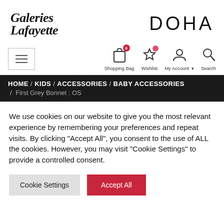[Figure (logo): Galeries Lafayette cursive handwritten logo]
DOHA
[Figure (infographic): Navigation icons: Shopping Bag (0), Wishlist, My Account, Search]
HOME / KIDS / ACCESSORIES / BABY ACCESSORIES / First Grey Bonnet : OS
We use cookies on our website to give you the most relevant experience by remembering your preferences and repeat visits. By clicking “Accept All”, you consent to the use of ALL the cookies. However, you may visit "Cookie Settings" to provide a controlled consent.
Cookie Settings | Accept All